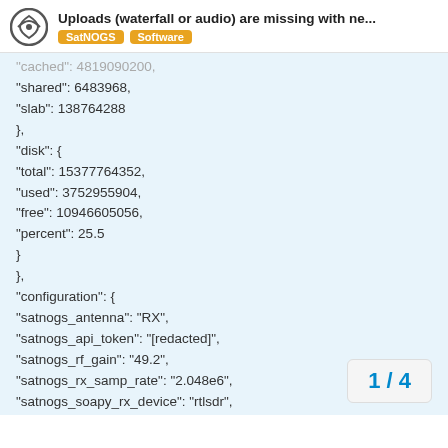Uploads (waterfall or audio) are missing with ne... | SatNOGS | Software
"cached": 4819090200,
"shared": 6483968,
"slab": 138764288
},
"disk": {
"total": 15377764352,
"used": 3752955904,
"free": 10946605056,
"percent": 25.5
}
},
"configuration": {
"satnogs_antenna": "RX",
"satnogs_api_token": "[redacted]",
"satnogs_rf_gain": "49.2",
"satnogs_rx_samp_rate": "2.048e6",
"satnogs_soapy_rx_device": "rtlsdr",
"satnogs_station_elev": "30",
"satnogs_station_id": "377",
"satnogs_station_lat": "44.248"
1 / 4